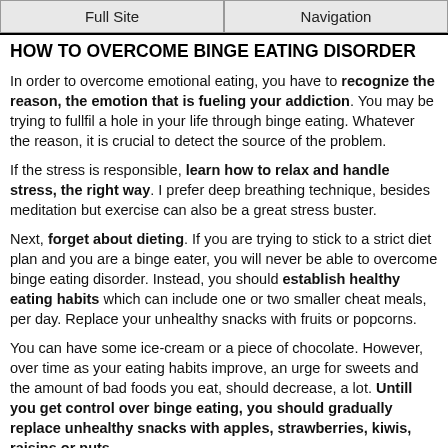Full Site | Navigation
HOW TO OVERCOME BINGE EATING DISORDER
In order to overcome emotional eating, you have to recognize the reason, the emotion that is fueling your addiction. You may be trying to fullfil a hole in your life through binge eating. Whatever the reason, it is crucial to detect the source of the problem.
If the stress is responsible, learn how to relax and handle stress, the right way. I prefer deep breathing technique, besides meditation but exercise can also be a great stress buster.
Next, forget about dieting. If you are trying to stick to a strict diet plan and you are a binge eater, you will never be able to overcome binge eating disorder. Instead, you should establish healthy eating habits which can include one or two smaller cheat meals, per day. Replace your unhealthy snacks with fruits or popcorns.
You can have some ice-cream or a piece of chocolate. However, over time as your eating habits improve, an urge for sweets and the amount of bad foods you eat, should decrease, a lot. Untill you get control over binge eating, you should gradually replace unhealthy snacks with apples, strawberries, kiwis, raisins or nuts.
It would be the best when you would remove all the snacks and sweets from your house, in order to prevent binge eating. Maybe you can't remove all of them but at least, try to limit the amount of bad foods, near